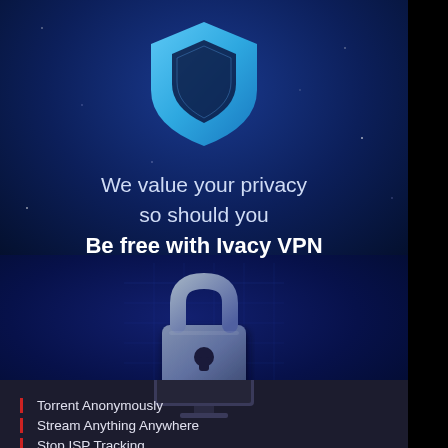[Figure (illustration): Ivacy VPN shield logo — a blue shield with a lighter blue cutout shield shape in the center, on a dark blue starry background]
We value your privacy so should you Be free with Ivacy VPN
[Figure (illustration): A 3D padlock icon on a dark blue digital/circuit background, representing security]
[Figure (illustration): A computer monitor icon (bottom portion visible) on a dark background]
Torrent Anonymously
Stream Anything Anywhere
Stop ISP Tracking